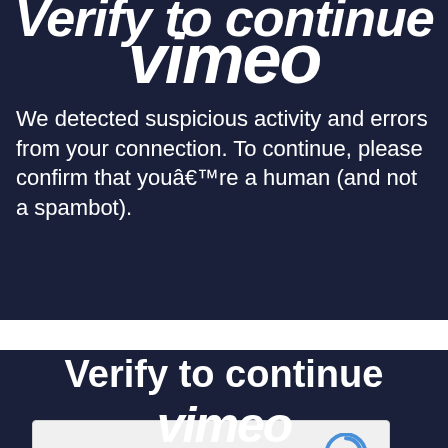Verify to continue
[Figure (logo): Vimeo logo in large bold italic white text on dark navy background]
We detected suspicious activity and errors from your connection. To continue, please confirm that youâ€™re a human (and not a spambot).
[Figure (screenshot): reCAPTCHA widget with checkbox labeled I'm not a robot and reCAPTCHA branding with Privacy and Terms links]
Verify to continue
[Figure (logo): Vimeo logo partial at bottom, bold italic white text on dark navy background]